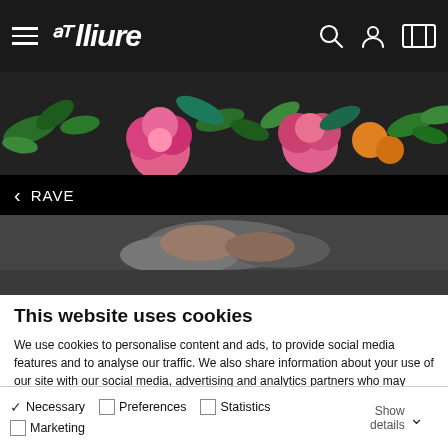Teatre Lliure website header with logo, hamburger menu, search, user and ticket icons
[Figure (photo): Floral/botanical decorative band across the header with flowers, leaves and fruit against dark background]
RAVE
[Figure (photo): Close-up photo of a person lying down, dark tones]
This website uses cookies
We use cookies to personalise content and ads, to provide social media features and to analyse our traffic. We also share information about your use of our site with our social media, advertising and analytics partners who may combine it with other information that you've provided to them or that they've collected from your use of their services.
Allow all cookies
Allow selection
Use necessary cookies only
Necessary  Preferences  Statistics  Marketing  Show details